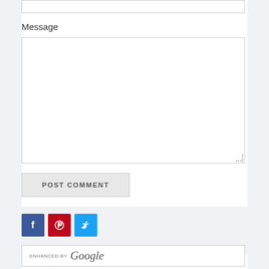Message
[Figure (screenshot): Empty message textarea input box with resize handle in bottom-right corner]
[Figure (screenshot): POST COMMENT button, gray background, uppercase text]
[Figure (infographic): Social media share icons: Facebook (blue), Pinterest (red), Twitter (light blue)]
[Figure (screenshot): ENHANCED BY Google search box]